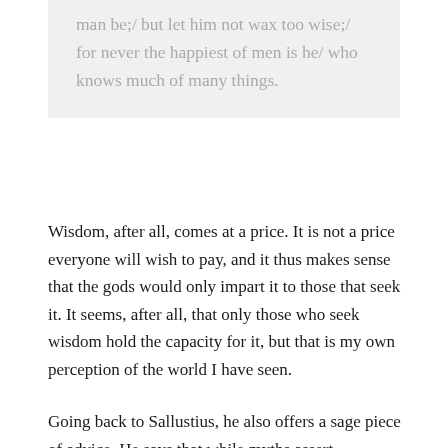man be;/ but let him not wax too wise;/ for never the happiest of men is he/ who knows much of many things.
Wisdom, after all, comes at a price. It is not a price everyone will wish to pay, and it thus makes sense that the gods would only impart it to those that seek it. It seems, after all, that only those who seek wisdom hold the capacity for it, but that is my own perception of the world I have seen.
Going back to Sallustius, he also offers a sage piece of advice. He says that while myths assert